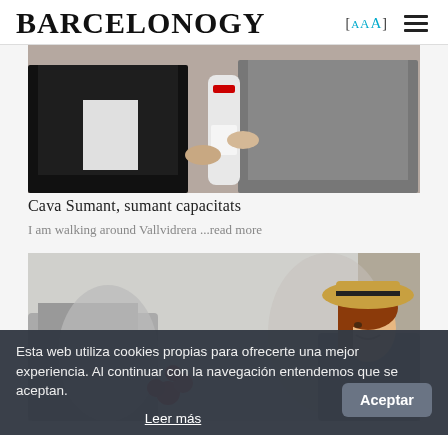BARCELONOGY   [AAA]  ≡
[Figure (photo): Two people holding a bottle of Cava Sumant between them — one in a dark jacket, one in a grey suit]
Cava Sumant, sumant capacitats
I am walking around Vallvidrera ...read more
[Figure (photo): Woman with red hair wearing a straw hat with dark ribbon, holding red roses, smiling at an outdoor event]
Esta web utiliza cookies propias para ofrecerte una mejor experiencia. Al continuar con la navegación entendemos que se aceptan.
Leer más